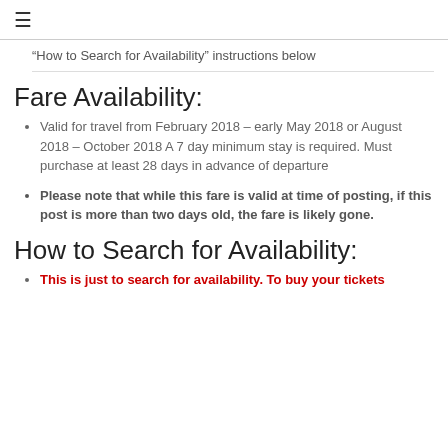≡
“How to Search for Availability” instructions below
Fare Availability:
Valid for travel from February 2018 – early May 2018 or August 2018 – October 2018 A 7 day minimum stay is required. Must purchase at least 28 days in advance of departure
Please note that while this fare is valid at time of posting, if this post is more than two days old, the fare is likely gone.
How to Search for Availability:
This is just to search for availability. To buy your tickets